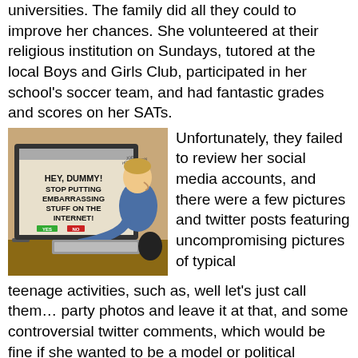universities. The family did all they could to improve her chances. She volunteered at their religious institution on Sundays, tutored at the local Boys and Girls Club, participated in her school's soccer team, and had fantastic grades and scores on her SATs.
[Figure (illustration): A cartoon showing a person sitting at a computer. The monitor displays text reading 'HEY, DUMMY! STOP PUTTING EMBARRASSING STUFF ON THE INTERNET!' with YES and NO buttons. The cartoon is signed by the artist.]
Unfortunately, they failed to review her social media accounts, and there were a few pictures and twitter posts featuring uncompromising pictures of typical teenage activities, such as, well let's just call them… party photos and leave it at that, and some controversial twitter comments, which would be fine if she wanted to be a model or political commentator for one party or another. Most exclusive schools do not want to take on these adventurous types of students, they want the studious student. The